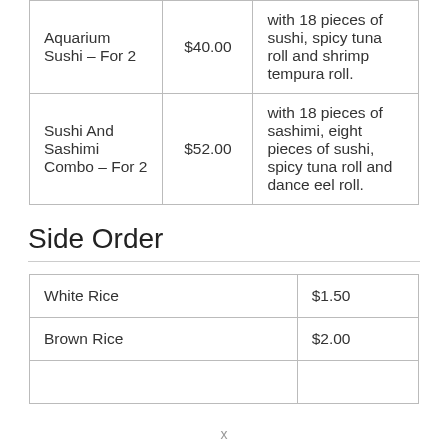| Item | Price | Description |
| --- | --- | --- |
| Aquarium Sushi – For 2 | $40.00 | with 18 pieces of sushi, spicy tuna roll and shrimp tempura roll. |
| Sushi And Sashimi Combo – For 2 | $52.00 | with 18 pieces of sashimi, eight pieces of sushi, spicy tuna roll and dance eel roll. |
Side Order
| Item | Price |
| --- | --- |
| White Rice | $1.50 |
| Brown Rice | $2.00 |